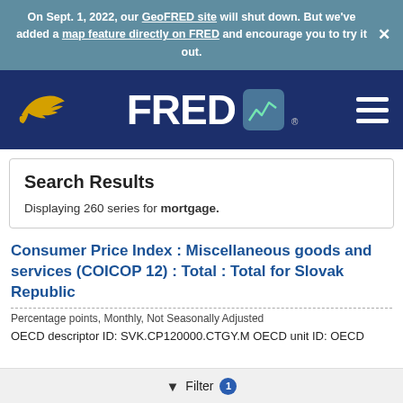On Sept. 1, 2022, our GeoFRED site will shut down. But we've added a map feature directly on FRED and encourage you to try it out. ×
[Figure (logo): FRED logo with eagle/bird icon on dark blue navigation bar with hamburger menu]
Search Results
Displaying 260 series for mortgage.
Consumer Price Index : Miscellaneous goods and services (COICOP 12) : Total : Total for Slovak Republic
Percentage points, Monthly, Not Seasonally Adjusted
OECD descriptor ID: SVK.CP120000.CTGY.M OECD unit ID: OECD
Filter 1